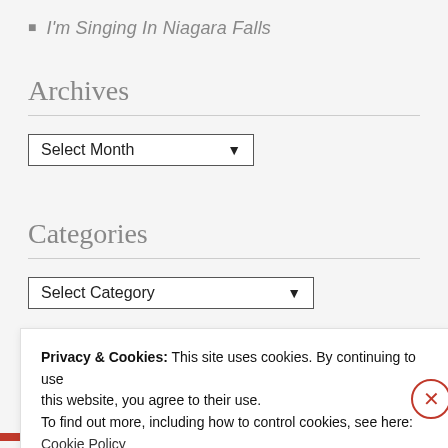I'm Singing In Niagara Falls
Archives
Select Month
Categories
Select Category
Privacy & Cookies: This site uses cookies. By continuing to use this website, you agree to their use.
To find out more, including how to control cookies, see here:
Cookie Policy
Close and accept